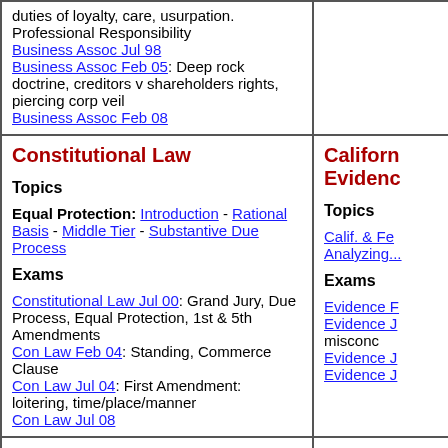duties of loyalty, care, usurpation. Professional Responsibility
Business Assoc Jul 98
Business Assoc Feb 05: Deep rock doctrine, creditors v shareholders rights, piercing corp veil
Business Assoc Feb 08
Constitutional Law
Topics
Equal Protection: Introduction - Rational Basis - Middle Tier - Substantive Due Process
Exams
Constitutional Law Jul 00: Grand Jury, Due Process, Equal Protection, 1st & 5th Amendments
Con Law Feb 04: Standing, Commerce Clause
Con Law Jul 04: First Amendment: loitering, time/place/manner
Con Law Jul 08
California Evidence
Topics
Calif. & Fe... Analyzing...
Exams
Evidence F... Evidence J... misconduct Evidence J... Evidence J...